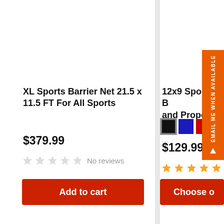XL Sports Barrier Net 21.5 x 11.5 FT For All Sports
$379.99
No reviews
Add to cart
12x9 Sports B... and Property
$129.99
Choose o...
EMAIL ME WHEN AVAILABLE